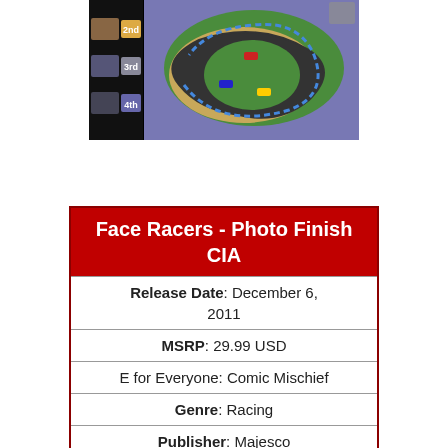[Figure (screenshot): A top-down racing video game screenshot showing a race track on an island with colored racers in positions 2nd, 3rd, 4th visible on the left side panel, set against a purple background.]
| Face Racers - Photo Finish CIA |
| --- |
| Release Date: December 6, 2011 |
| MSRP: 29.99 USD |
| E for Everyone: Comic Mischief |
| Genre: Racing |
| Publisher: Majesco |
| Developer: Renegade Kid |
| USA |
| REGION FREE |